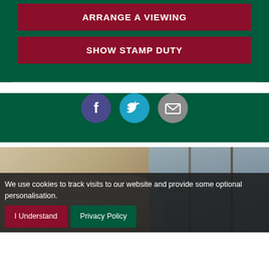ARRANGE A VIEWING
SHOW STAMP DUTY
[Figure (infographic): Three social share icons: Facebook (dark purple circle), Twitter (blue circle), Email (grey circle)]
[Figure (photo): Interior photo of a living room with white sofas, a wooden table, and glass doors/windows in the background]
We use cookies to track visits to our website and provide some optional personalisation.
I Understand
Privacy Policy